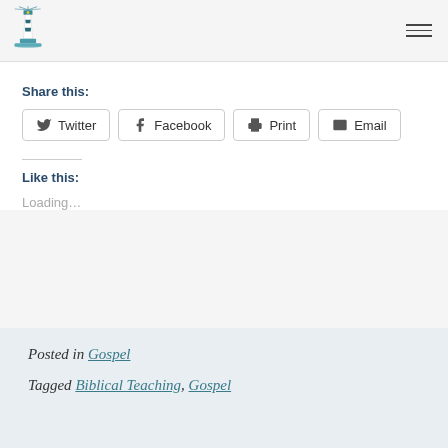Lighthouse logo and navigation
Share this:
Twitter  Facebook  Print  Email
Like this:
Loading...
Posted in Gospel
Tagged Biblical Teaching, Gospel